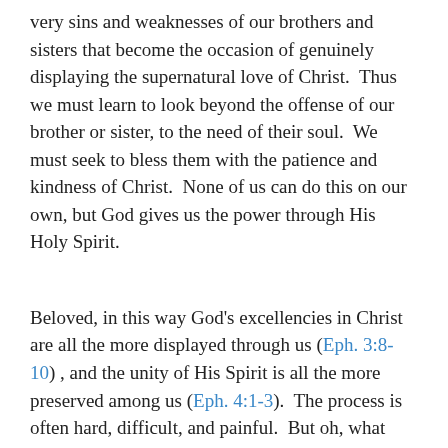very sins and weaknesses of our brothers and sisters that become the occasion of genuinely displaying the supernatural love of Christ.  Thus we must learn to look beyond the offense of our brother or sister, to the need of their soul.  We must seek to bless them with the patience and kindness of Christ.  None of us can do this on our own, but God gives us the power through His Holy Spirit.
Beloved, in this way God's excellencies in Christ are all the more displayed through us (Eph. 3:8-10) , and the unity of His Spirit is all the more preserved among us (Eph. 4:1-3).  The process is often hard, difficult, and painful.  But oh, what wonderful fruit God bears for His glory, and the joy of His people (Jn. 15:8-11)!